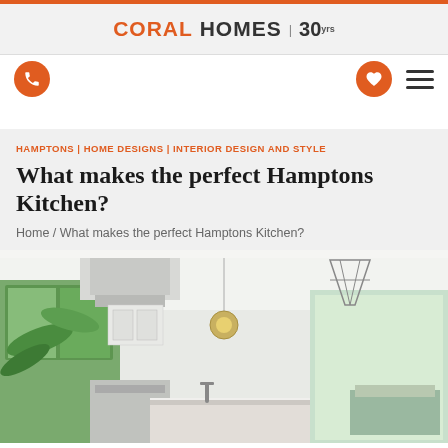CORAL HOMES | 30 Years
[Figure (screenshot): Navigation icons: phone icon (orange circle) on left, heart icon (orange circle) and hamburger menu on right]
HAMPTONS | HOME DESIGNS | INTERIOR DESIGN AND STYLE
What makes the perfect Hamptons Kitchen?
Home / What makes the perfect Hamptons Kitchen?
[Figure (photo): Bright white Hamptons-style kitchen interior with large island bench, pendant lights, range hood, open bifold doors to outdoor area with lush greenery visible]